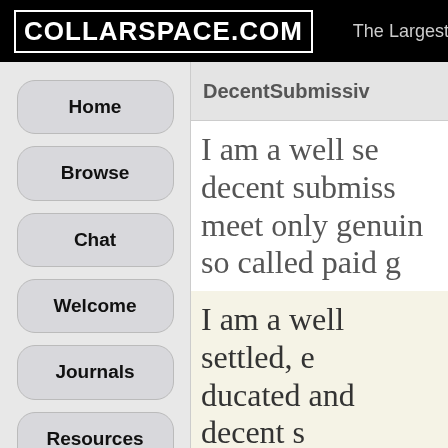COLLARSPACE.COM — The Largest BDSM Com
Home
Browse
Chat
Welcome
Journals
Resources
DecentSubmissiv
I am a well set decent submiss meet only genuin so called paid g
I am a well settled, e ducated and decent s ubmissive guy. Looki ng to meet only genu ne people and not int